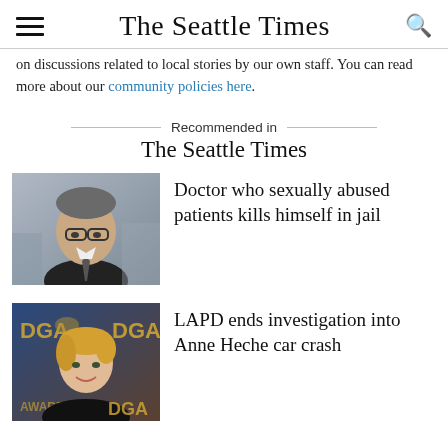The Seattle Times
on discussions related to local stories by our own staff. You can read more about our community policies here.
Recommended in The Seattle Times
[Figure (photo): Headshot of middle-aged man with glasses and dark suit]
Doctor who sexually abused patients kills himself in jail
[Figure (photo): Blonde woman at DGA Awards event, smiling, wearing black]
LAPD ends investigation into Anne Heche car crash